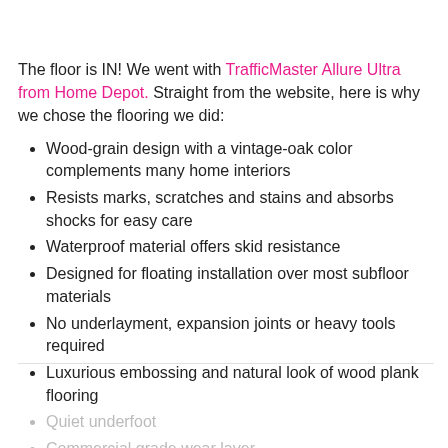The floor is IN!  We went with TrafficMaster Allure Ultra from Home Depot.  Straight from the website, here is why we chose the flooring we did:
Wood-grain design with a vintage-oak color complements many home interiors
Resists marks, scratches and stains and absorbs shocks for easy care
Waterproof material offers skid resistance
Designed for floating installation over most subfloor materials
No underlayment, expansion joints or heavy tools required
Luxurious embossing and natural look of wood plank flooring
Quiet underfoot
Commercial grade wear layer